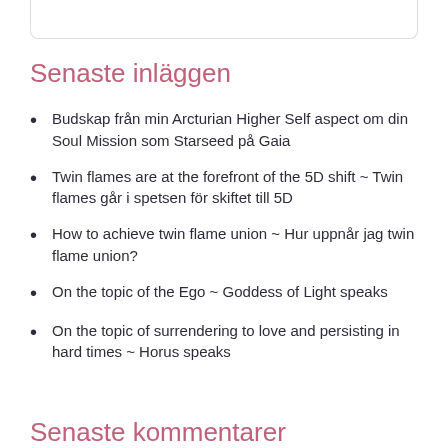Senaste inläggen
Budskap från min Arcturian Higher Self aspect om din Soul Mission som Starseed på Gaia
Twin flames are at the forefront of the 5D shift ~ Twin flames går i spetsen för skiftet till 5D
How to achieve twin flame union ~ Hur uppnår jag twin flame union?
On the topic of the Ego ~ Goddess of Light speaks
On the topic of surrendering to love and persisting in hard times ~ Horus speaks
Senaste kommentarer